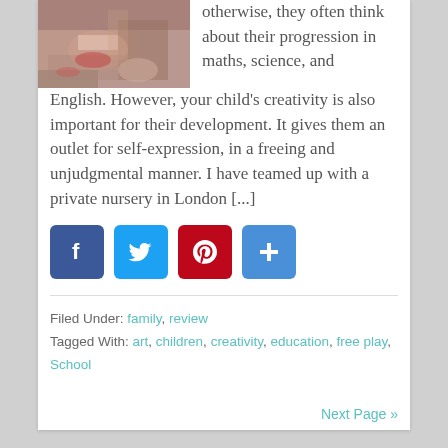[Figure (photo): Child painting/doing art activity on floor, view from above showing hands and artwork]
otherwise, they often think about their progression in maths, science, and English. However, your child's creativity is also important for their development. It gives them an outlet for self-expression, in a freeing and unjudgmental manner. I have teamed up with a private nursery in London [...]
[Figure (infographic): Social sharing buttons: Facebook (blue), Twitter (light blue), Pinterest (red), Google+ / share (blue)]
Filed Under: family, review
Tagged With: art, children, creativity, education, free play, School
Next Page »